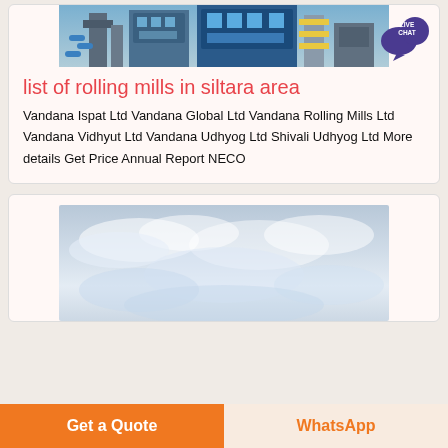[Figure (photo): Industrial factory/rolling mill with blue machinery and yellow scaffolding structures]
list of rolling mills in siltara area
Vandana Ispat Ltd Vandana Global Ltd Vandana Rolling Mills Ltd Vandana Vidhyut Ltd Vandana Udhyog Ltd Shivali Udhyog Ltd More details Get Price Annual Report NECO
[Figure (photo): Sky with clouds, light grey and white tones]
Get a Quote  WhatsApp